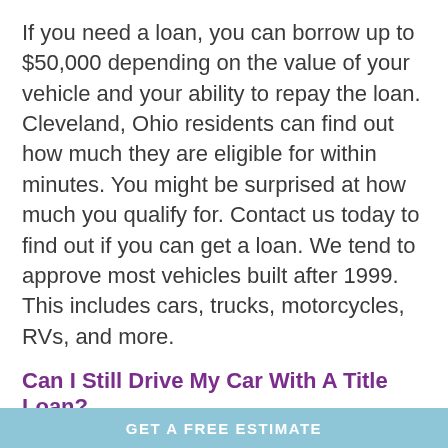If you need a loan, you can borrow up to $50,000 depending on the value of your vehicle and your ability to repay the loan. Cleveland, Ohio residents can find out how much they are eligible for within minutes. You might be surprised at how much you qualify for. Contact us today to find out if you can get a loan. We tend to approve most vehicles built after 1999. This includes cars, trucks, motorcycles, RVs, and more.
Can I Still Drive My Car With A Title Loan?
Yes, you can still drive your car while making
GET A FREE ESTIMATE